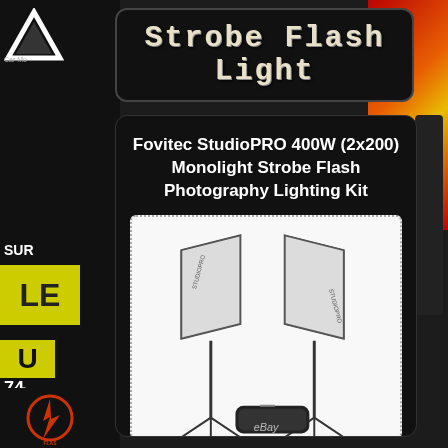Strobe Flash Light
Fovitec StudioPRO 400W (2x200) Monolight Strobe Flash Photography Lighting Kit
[Figure (photo): Product photo of Fovitec StudioPRO 400W photography lighting kit showing two softbox studio lights on tripod stands with a carrying bag, on white background. Watermark 'eBay' visible at bottom.]